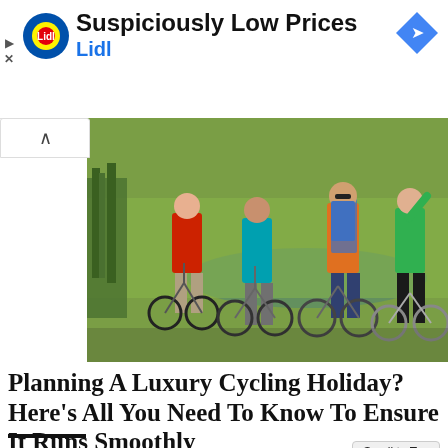[Figure (advertisement): Lidl advertisement banner with Lidl logo (blue/yellow/red circle), title 'Suspiciously Low Prices', subtitle 'Lidl' in blue, navigation arrow icon, play and close icons on the left.]
[Figure (photo): Four people with mountain bikes outdoors near a body of water and green fields. One woman in red jacket, one in teal, one man with backpack and sunglasses on bike, one woman in green. Scenic rural setting.]
Planning A Luxury Cycling Holiday? Here’s All You Need To Know To Ensure It Runs Smoothly
BY LLM REPORTERS